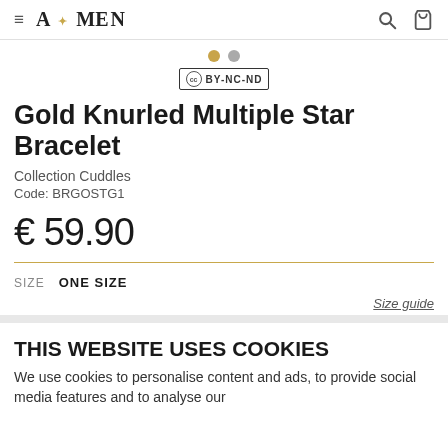A★MEN
[Figure (screenshot): Two navigation dots: one gold and one gray, indicating image carousel position]
[Figure (logo): Creative Commons CC BY-NC-ND badge]
Gold Knurled Multiple Star Bracelet
Collection Cuddles
Code: BRGOSTG1
€ 59.90
SIZE   ONE SIZE
Size guide
THIS WEBSITE USES COOKIES
We use cookies to personalise content and ads, to provide social media features and to analyse our